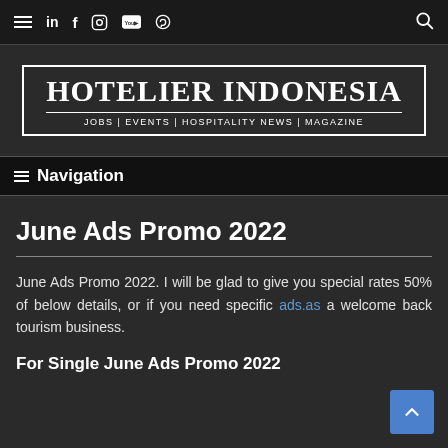≡ in f [instagram] [youtube] [pinterest] [search]
[Figure (logo): Hotelier Indonesia logo — white text on dark background with border. Main text: HOTELIER INDONESIA. Subtitle: JOBS | EVENTS | HOSPITALITY NEWS | MAGAZINE]
≡ Navigation
June Ads Promo 2022
June Ads Promo 2022. I will be glad to give you special rates 50% of below details, or if you need specific ads.as a welcome back tourism business.
For Single June Ads Promo 2022